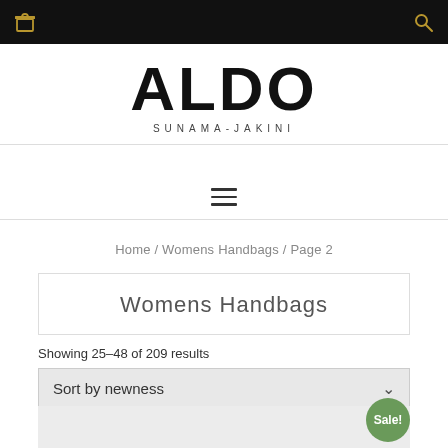ALDO SUNAMA-JAKINI
[Figure (logo): ALDO logo with SUNAMA-JAKINI subtitle]
≡ (hamburger menu icon)
Home / Womens Handbags / Page 2
Womens Handbags
Showing 25–48 of 209 results
Sort by newness
[Figure (other): Product image area with Sale! badge]